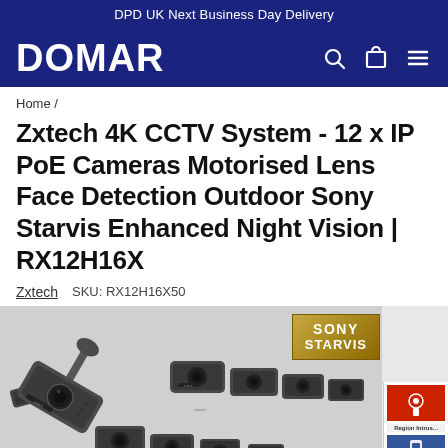DPD UK Next Business Day Delivery
[Figure (logo): DOMAR logo with navigation icons (search, cart, menu) on dark navy background]
Home /
Zxtech 4K CCTV System - 12 x IP PoE Cameras Motorised Lens Face Detection Outdoor Sony Starvis Enhanced Night Vision | RX12H16X
Zxtech   SKU: RX12H16X50
[Figure (photo): Multiple Zxtech 4K CCTV bullet cameras arranged in a row with Sony Starvis badge, and a Region Access / Mobile Access panel on the right side]